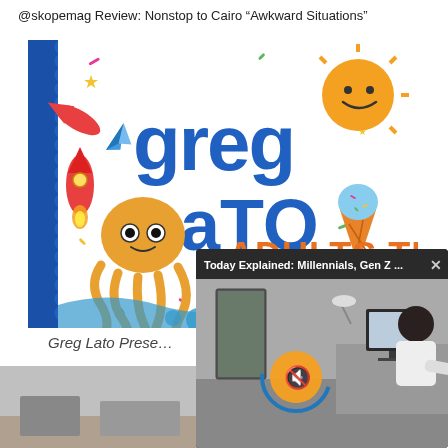@skopemag Review: Nonstop to Cairo “Awkward Situations”
[Figure (illustration): Colorful album cover for Greg Lato 'Adults These Days' featuring cartoon characters: octopus, paper plane rocket, smiling sun, ice cream cone, with bold blue and orange text on white background with a blue spine on the left side.]
Greg Lato Prese…
[Figure (screenshot): Popup video overlay with dark header reading 'Today Explained: Millennials, Gen Z ...' with a close X button, showing a video still of a person sitting at a desktop computer in an office setting, with a muted speaker icon button overlaid.]
[Figure (photo): Partial bottom strip photo showing a desk or table surface in muted tones.]